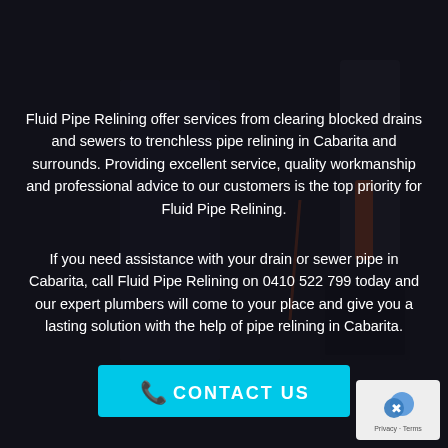[Figure (photo): Dark background photo of a person in work clothes holding orange-handled tool/toolbox, with dark overlay creating a moody background for the text content]
Fluid Pipe Relining offer services from clearing blocked drains and sewers to trenchless pipe relining in Cabarita and surrounds. Providing excellent service, quality workmanship and professional advice to our customers is the top priority for Fluid Pipe Relining.
If you need assistance with your drain or sewer pipe in Cabarita, call Fluid Pipe Relining on 0410 522 799 today and our expert plumbers will come to your place and give you a lasting solution with the help of pipe relining in Cabarita.
[Figure (other): Cyan/blue 'CONTACT US' button with phone icon]
[Figure (logo): Google reCAPTCHA badge in bottom right corner showing shield icon with Privacy and Terms links]